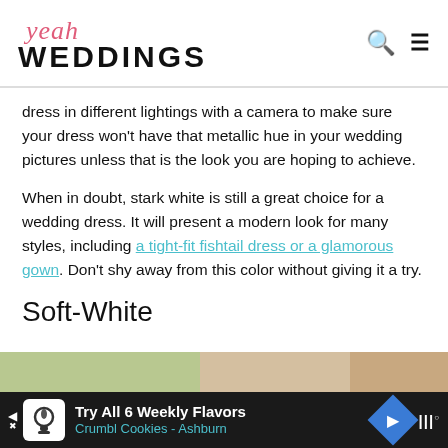yeah WEDDINGS
dress in different lightings with a camera to make sure your dress won't have that metallic hue in your wedding pictures unless that is the look you are hoping to achieve.
When in doubt, stark white is still a great choice for a wedding dress. It will present a modern look for many styles, including a tight-fit fishtail dress or a glamorous gown. Don't shy away from this color without giving it a try.
Soft-White
[Figure (photo): Partial view of a soft-white wedding dress photo]
Try All 6 Weekly Flavors Crumbl Cookies - Ashburn